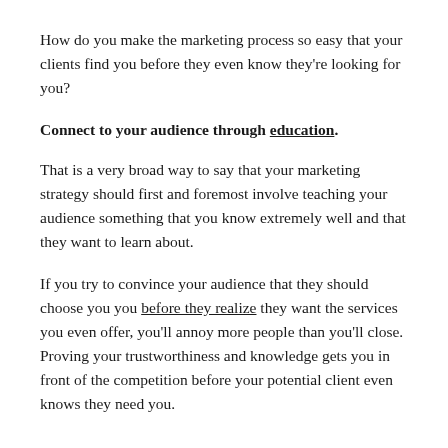How do you make the marketing process so easy that your clients find you before they even know they're looking for you?
Connect to your audience through education.
That is a very broad way to say that your marketing strategy should first and foremost involve teaching your audience something that you know extremely well and that they want to learn about.
If you try to convince your audience that they should choose you you before they realize they want the services you even offer, you'll annoy more people than you'll close. Proving your trustworthiness and knowledge gets you in front of the competition before your potential client even knows they need you.